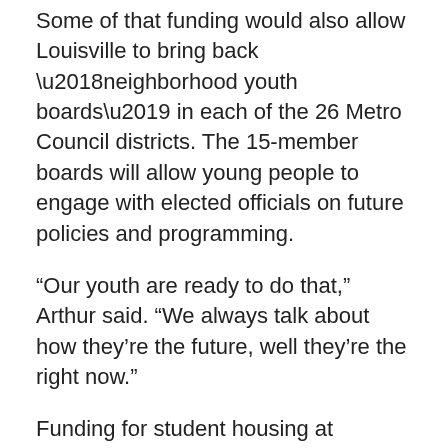Some of that funding would also allow Louisville to bring back 'neighborhood youth boards' in each of the 26 Metro Council districts. The 15-member boards will allow young people to engage with elected officials on future policies and programming.
“Our youth are ready to do that,” Arthur said. “We always talk about how they’re the future, well they’re the right now.”
Funding for student housing at Simmons College of Kentucky, the ongoing public health response to COVID-19 and a re-entry program for formerly incarcerated people bring the total tally of the proposal to around $87.4 million.
The spending plan was submitted to Metro Council on Monday in the form of an ordinance. It’s expected to get a first hearing from the Budget